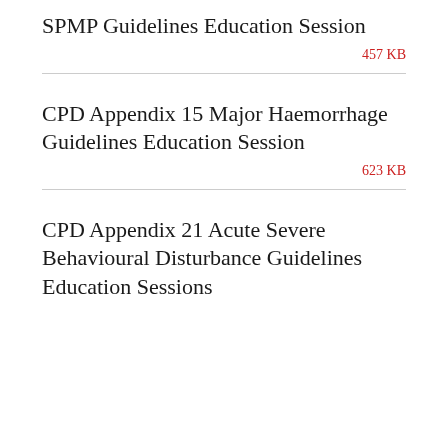SPMP Guidelines Education Session
457 KB
CPD Appendix 15 Major Haemorrhage Guidelines Education Session
623 KB
CPD Appendix 21 Acute Severe Behavioural Disturbance Guidelines Education Sessions